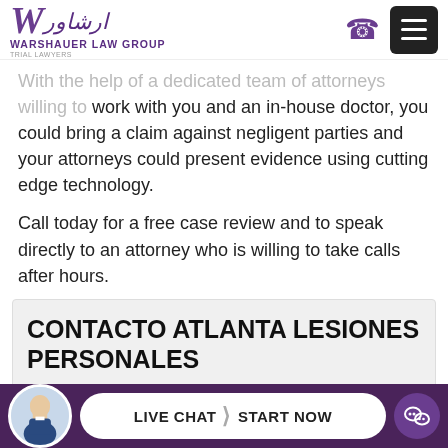Warshauer Law Group
With the help of a dedicated team of attorneys willing to work with you and an in-house doctor, you could bring a claim against negligent parties and your attorneys could present evidence using cutting edge technology.
Call today for a free case review and to speak directly to an attorney who is willing to take calls after hours.
CONTACTO ATLANTA LESIONES PERSONALES
Llame al (404) 620-6304 o complete el formulario
LIVE CHAT | START NOW